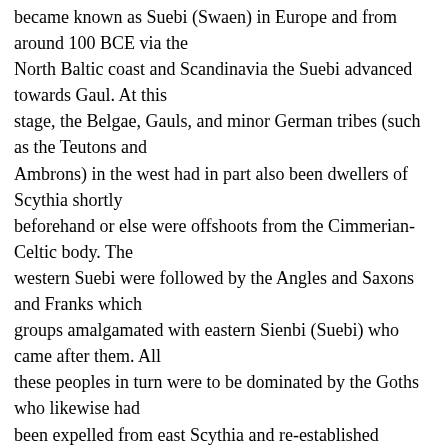became known as Suebi (Swaen) in Europe and from around 100 BCE via the North Baltic coast and Scandinavia the Suebi advanced towards Gaul. At this stage, the Belgae, Gauls, and minor German tribes (such as the Teutons and Ambrons) in the west had in part also been dwellers of Scythia shortly beforehand or else were offshoots from the Cimmerian-Celtic body. The western Suebi were followed by the Angles and Saxons and Franks which groups amalgamated with eastern Sienbi (Suebi) who came after them. All these peoples in turn were to be dominated by the Goths who likewise had been expelled from east Scythia and re-established themselves in Sweden and in the area between the Baltic and Black Seas. The Goths were very closely connected to the Vandals who in turn were quite numerous and consisted of several clans. The Gothic Empire reached unto Denmark if not beyond. It was to be destroyed by the still advancing Huns who pushed before them a...